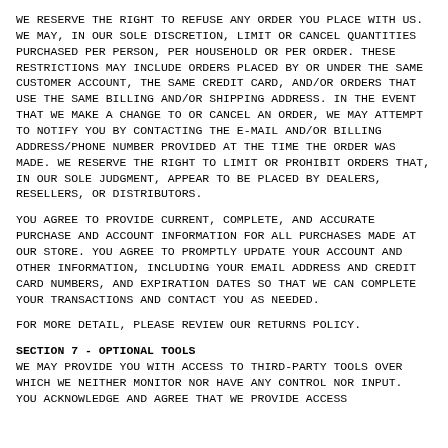WE RESERVE THE RIGHT TO REFUSE ANY ORDER YOU PLACE WITH US. WE MAY, IN OUR SOLE DISCRETION, LIMIT OR CANCEL QUANTITIES PURCHASED PER PERSON, PER HOUSEHOLD OR PER ORDER. THESE RESTRICTIONS MAY INCLUDE ORDERS PLACED BY OR UNDER THE SAME CUSTOMER ACCOUNT, THE SAME CREDIT CARD, AND/OR ORDERS THAT USE THE SAME BILLING AND/OR SHIPPING ADDRESS. IN THE EVENT THAT WE MAKE A CHANGE TO OR CANCEL AN ORDER, WE MAY ATTEMPT TO NOTIFY YOU BY CONTACTING THE E-MAIL AND/OR BILLING ADDRESS/PHONE NUMBER PROVIDED AT THE TIME THE ORDER WAS MADE. WE RESERVE THE RIGHT TO LIMIT OR PROHIBIT ORDERS THAT, IN OUR SOLE JUDGMENT, APPEAR TO BE PLACED BY DEALERS, RESELLERS, OR DISTRIBUTORS.
YOU AGREE TO PROVIDE CURRENT, COMPLETE, AND ACCURATE PURCHASE AND ACCOUNT INFORMATION FOR ALL PURCHASES MADE AT OUR STORE. YOU AGREE TO PROMPTLY UPDATE YOUR ACCOUNT AND OTHER INFORMATION, INCLUDING YOUR EMAIL ADDRESS AND CREDIT CARD NUMBERS, AND EXPIRATION DATES SO THAT WE CAN COMPLETE YOUR TRANSACTIONS AND CONTACT YOU AS NEEDED.
FOR MORE DETAIL, PLEASE REVIEW OUR RETURNS POLICY.
SECTION 7 - OPTIONAL TOOLS
WE MAY PROVIDE YOU WITH ACCESS TO THIRD-PARTY TOOLS OVER WHICH WE NEITHER MONITOR NOR HAVE ANY CONTROL NOR INPUT.
YOU ACKNOWLEDGE AND AGREE THAT WE PROVIDE ACCESS